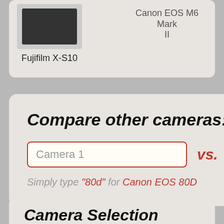[Figure (screenshot): Top card showing two camera comparison: Fujifilm X-S10 (left) and Canon EOS M6 Mark II (right), partially visible at top of page]
Fujifilm X-S10
Canon EOS M6 Mark II
Compare other cameras:
Camera 1  vs.  Ca
Simply type "80d" for Canon EOS 80D
Camera Selection Tool: